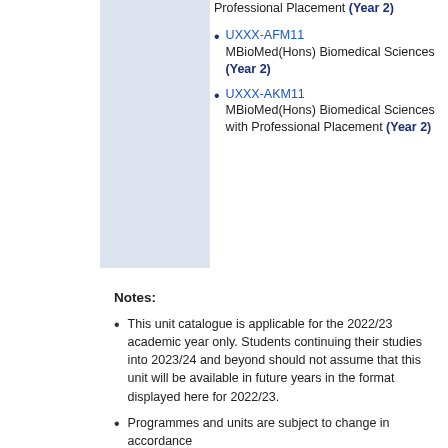Professional Placement (Year 2)
UXXX-AFM11 MBioMed(Hons) Biomedical Sciences (Year 2)
UXXX-AKM11 MBioMed(Hons) Biomedical Sciences with Professional Placement (Year 2)
Notes:
This unit catalogue is applicable for the 2022/23 academic year only. Students continuing their studies into 2023/24 and beyond should not assume that this unit will be available in future years in the format displayed here for 2022/23.
Programmes and units are subject to change in accordance